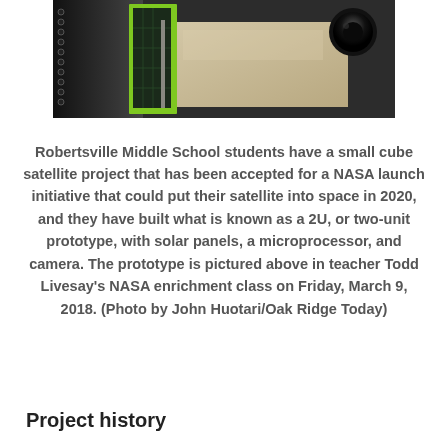[Figure (photo): Close-up photo of a small cube satellite prototype (2U CubeSat) with a green-framed solar panel visible, a beige/tan structure, and a black camera lens in the upper right. Dark frame and tracks visible on the left side.]
Robertsville Middle School students have a small cube satellite project that has been accepted for a NASA launch initiative that could put their satellite into space in 2020, and they have built what is known as a 2U, or two-unit prototype, with solar panels, a microprocessor, and camera. The prototype is pictured above in teacher Todd Livesay's NASA enrichment class on Friday, March 9, 2018. (Photo by John Huotari/Oak Ridge Today)
Project history